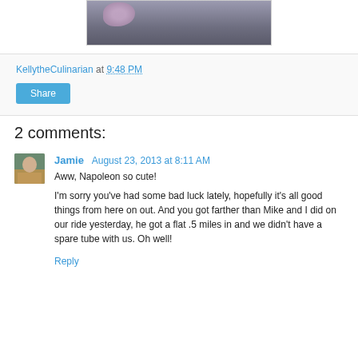[Figure (photo): Partial photo of flowers/decorative object on dark fabric background, cropped at top]
KellytheCulinarian at 9:48 PM
Share
2 comments:
Jamie  August 23, 2013 at 8:11 AM
Aww, Napoleon so cute!

I'm sorry you've had some bad luck lately, hopefully it's all good things from here on out. And you got farther than Mike and I did on our ride yesterday, he got a flat .5 miles in and we didn't have a spare tube with us. Oh well!
Reply